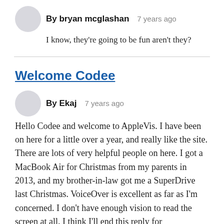By bryan mcglashan   7 years ago
I know, they're going to be fun aren't they?
Welcome Codee
By Ekaj   7 years ago
Hello Codee and welcome to AppleVis. I have been on here for a little over a year, and really like the site. There are lots of very helpful people on here. I got a MacBook Air for Christmas from my parents in 2013, and my brother-in-law got me a SuperDrive last Christmas. VoiceOver is excellent as far as I'm concerned. I don't have enough vision to read the screen at all. I think I'll end this reply for